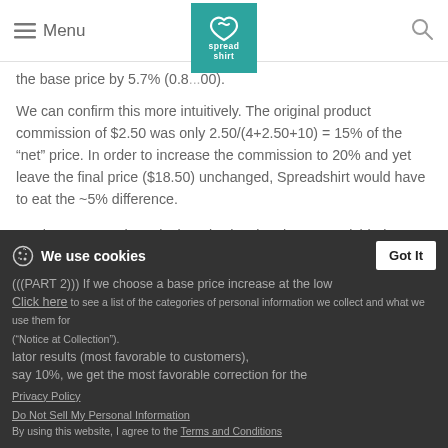Menu [logo: spread shirt] [search icon]
the base price by 5.7% (0.8...00).
We can confirm this more intuitively. The original product commission of $2.50 was only 2.50/(4+2.50+10) = 15% of the “net” price. In order to increase the commission to 20% and yet leave the final price ($18.50) unchanged, Spreadshirt would have to eat the ~5% difference.
On the contrary, the calculator is showing that Spreadshirt is INCREASING the base price by varying amounts (9.3% to 19.2% in my examples).
(((PART 2))) If we choose a base price increase at the low...calculator results (most favorable to customers), say 10%, we get the most favorable correction for the...
We use cookies
Click here to see a list of the categories of personal information we collect and what we use them for (“Notice at Collection”).
Privacy Policy
Do Not Sell My Personal Information
By using this website, I agree to the Terms and Conditions